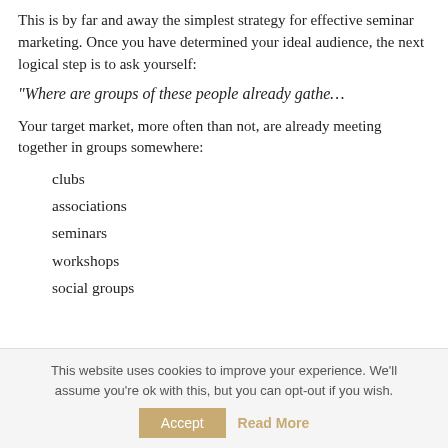This is by far and away the simplest strategy for effective seminar marketing. Once you have determined your ideal audience, the next logical step is to ask yourself:
“Where are groups of these people already gathe…
Your target market, more often than not, are already meeting together in groups somewhere:
clubs
associations
seminars
workshops
social groups
This website uses cookies to improve your experience. We'll assume you're ok with this, but you can opt-out if you wish.